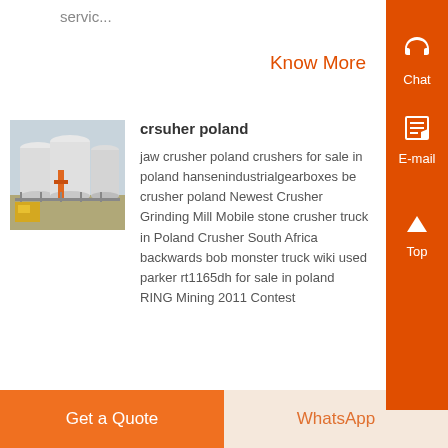servic...
Know More
[Figure (photo): Industrial crushing/grinding equipment facility with white silos and orange piping]
crsuher poland
jaw crusher poland crushers for sale in poland hansenindustrialgearboxes be crusher poland Newest Crusher Grinding Mill Mobile stone crusher truck in Poland Crusher South Africa backwards bob monster truck wiki used parker rt1165dh for sale in poland RING Mining 2011 Contest
Get a Quote
WhatsApp